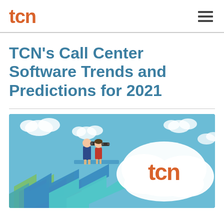tcn
TCN's Call Center Software Trends and Predictions for 2021
[Figure (illustration): Illustration showing two business people standing on upward-pointing arrows (teal, blue, green, purple), looking through binoculars. On the right side, a white cloud contains the orange 'tcn' logo. Light blue sky background with white clouds.]